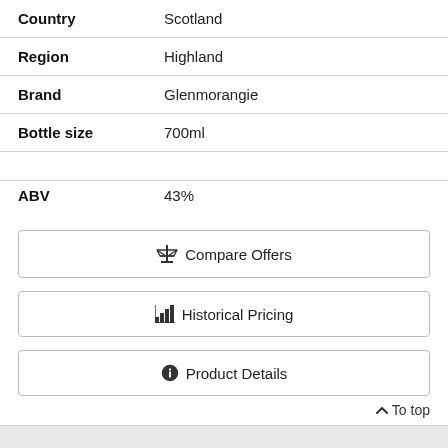| Country | Scotland |
| Region | Highland |
| Brand | Glenmorangie |
| Bottle size | 700ml |
| ABV | 43% |
⚖ Compare Offers
📊 Historical Pricing
ℹ Product Details
Compare Offers
∧ To top